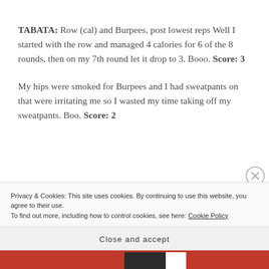TABATA: Row (cal) and Burpees, post lowest reps Well I started with the row and managed 4 calories for 6 of the 8 rounds, then on my 7th round let it drop to 3. Booo. Score: 3
My hips were smoked for Burpees and I had sweatpants on that were irritating me so I wasted my time taking off my sweatpants. Boo. Score: 2
Privacy & Cookies: This site uses cookies. By continuing to use this website, you agree to their use. To find out more, including how to control cookies, see here: Cookie Policy
Close and accept